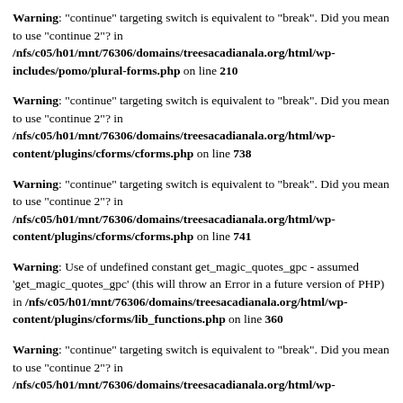Warning: "continue" targeting switch is equivalent to "break". Did you mean to use "continue 2"? in /nfs/c05/h01/mnt/76306/domains/treesacadianala.org/html/wp-includes/pomo/plural-forms.php on line 210
Warning: "continue" targeting switch is equivalent to "break". Did you mean to use "continue 2"? in /nfs/c05/h01/mnt/76306/domains/treesacadianala.org/html/wp-content/plugins/cforms/cforms.php on line 738
Warning: "continue" targeting switch is equivalent to "break". Did you mean to use "continue 2"? in /nfs/c05/h01/mnt/76306/domains/treesacadianala.org/html/wp-content/plugins/cforms/cforms.php on line 741
Warning: Use of undefined constant get_magic_quotes_gpc - assumed 'get_magic_quotes_gpc' (this will throw an Error in a future version of PHP) in /nfs/c05/h01/mnt/76306/domains/treesacadianala.org/html/wp-content/plugins/cforms/lib_functions.php on line 360
Warning: "continue" targeting switch is equivalent to "break". Did you mean to use "continue 2"? in /nfs/c05/h01/mnt/76306/domains/treesacadianala.org/html/wp-...